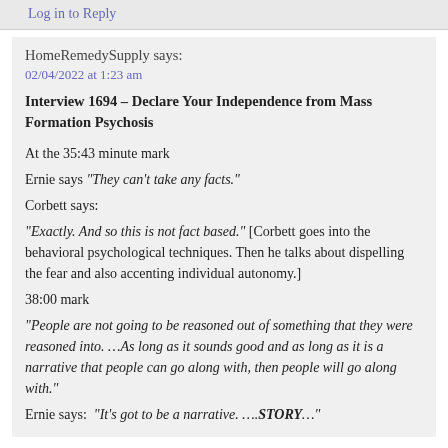Log in to Reply
HomeRemedySupply says:
02/04/2022 at 1:23 am
Interview 1694 – Declare Your Independence from Mass Formation Psychosis
At the 35:43 minute mark
Ernie says "They can't take any facts."
Corbett says:
"Exactly. And so this is not fact based." [Corbett goes into the behavioral psychological techniques. Then he talks about dispelling the fear and also accenting individual autonomy.]
38:00 mark
"People are not going to be reasoned out of something that they were reasoned into. …As long as it sounds good and as long as it is a narrative that people can go along with, then people will go along with."
Ernie says:  "It's got to be a narrative. ….STORY…"